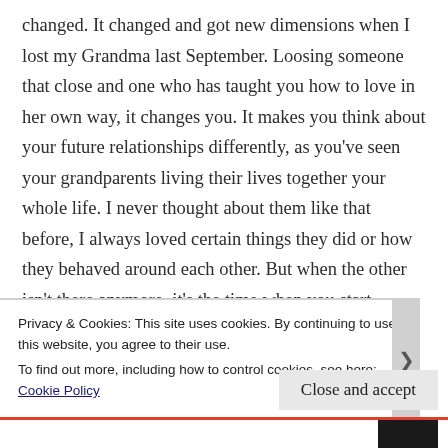changed. It changed and got new dimensions when I lost my Grandma last September. Loosing someone that close and one who has taught you how to love in her own way, it changes you. It makes you think about your future relationships differently, as you've seen your grandparents living their lives together your whole life. I never thought about them like that before, I always loved certain things they did or how they behaved around each other. But when the other isn't there anymore, it's the time when you start thinking about those moments that were normal before. It also makes you finally understand that we don't
Privacy & Cookies: This site uses cookies. By continuing to use this website, you agree to their use.
To find out more, including how to control cookies, see here: Cookie Policy
Close and accept